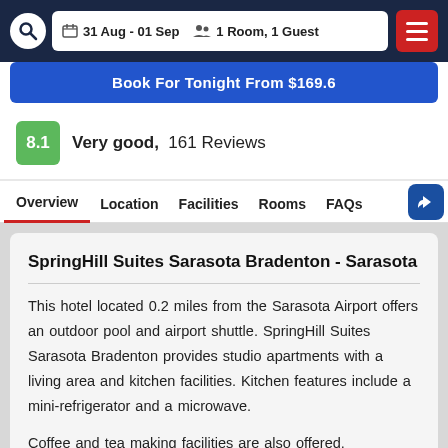31 Aug - 01 Sep  1 Room, 1 Guest
Book For Tonight From $169.6
8.1  Very good,  161 Reviews
Overview  Location  Facilities  Rooms  FAQs
SpringHill Suites Sarasota Bradenton - Sarasota
This hotel located 0.2 miles from the Sarasota Airport offers an outdoor pool and airport shuttle. SpringHill Suites Sarasota Bradenton provides studio apartments with a living area and kitchen facilities. Kitchen features include a mini-refrigerator and a microwave.
Coffee and tea making facilities are also offered. Cardiovascular equipment and free weights are